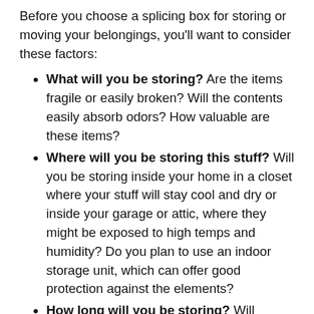Before you choose a splicing box for storing or moving your belongings, you’ll want to consider these factors:
What will you be storing? Are the items fragile or easily broken? Will the contents easily absorb odors? How valuable are these items?
Where will you be storing this stuff? Will you be storing inside your home in a closet where your stuff will stay cool and dry or inside your garage or attic, where they might be exposed to high temps and humidity? Do you plan to use an indoor storage unit, which can offer good protection against the elements?
How long will you be storing? Will